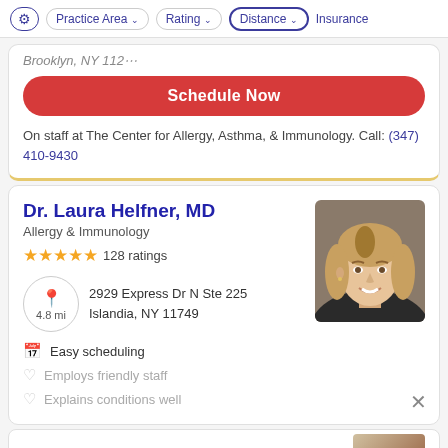Practice Area | Rating | Distance | Insurance
Brooklyn, NY 11234
Schedule Now
On staff at The Center for Allergy, Asthma, & Immunology. Call: (347) 410-9430
Dr. Laura Helfner, MD
Allergy & Immunology
★★★★★ 128 ratings
2929 Express Dr N Ste 225 Islandia, NY 11749 4.8 mi
Easy scheduling
Employs friendly staff
Explains conditions well